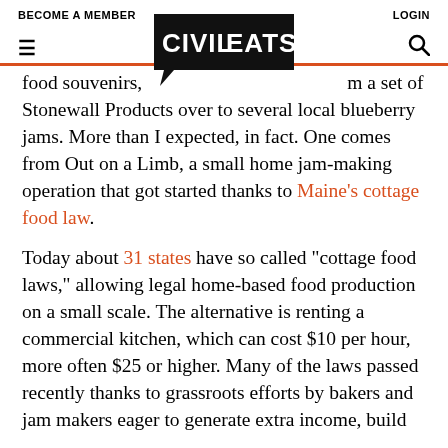BECOME A MEMBER    LOGIN
[Figure (logo): Civil Eats logo — bold black speech bubble containing white block letters CIVIL EATS]
food souvenirs, [logo] m a set of Stonewall Products over to several local blueberry jams. More than I expected, in fact. One comes from Out on a Limb, a small home jam-making operation that got started thanks to Maine's cottage food law.
Today about 31 states have so called “cottage food laws,” allowing legal home-based food production on a small scale. The alternative is renting a commercial kitchen, which can cost $10 per hour, more often $25 or higher. Many of the laws passed recently thanks to grassroots efforts by bakers and jam makers eager to generate extra income, build